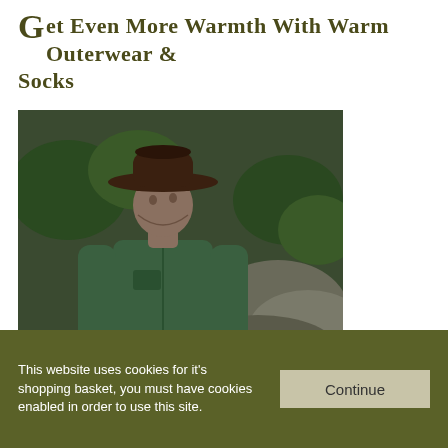Get Even More Warmth With Warm Outerwear & Socks
[Figure (photo): Outdoor photo of a man wearing a dark brown wide-brim leather hat and a green fleece zip-up jacket, standing outdoors with rocky terrain and green foliage in the background.]
This website uses cookies for it's shopping basket, you must have cookies enabled in order to use this site.
Continue